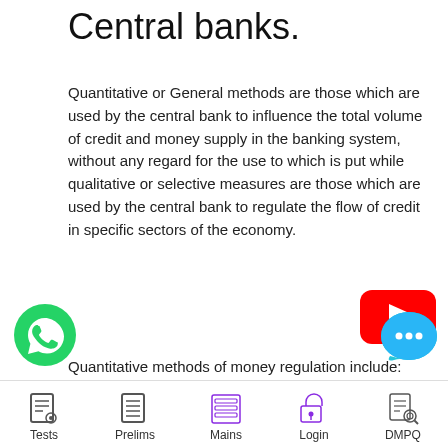Central banks.
Quantitative or General methods are those which are used by the central bank to influence the total volume of credit and money supply in the banking system, without any regard for the use to which is put while qualitative or selective measures are those which are used by the central bank to regulate the flow of credit in specific sectors of the economy.
[Figure (logo): YouTube play button logo in red]
Quantitative methods of money regulation include:
[Figure (logo): WhatsApp icon (green circle with phone)]
Bank rate Policy – A deliberate
[Figure (logo): Chat bubble icon (blue/cyan with ellipsis)]
Tests   Prelims   Mains   Login   DMPQ